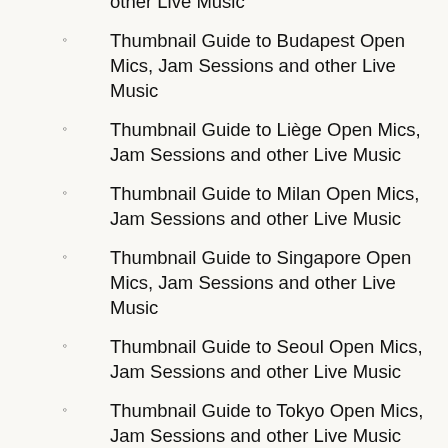other Live Music
Thumbnail Guide to Budapest Open Mics, Jam Sessions and other Live Music
Thumbnail Guide to Liège Open Mics, Jam Sessions and other Live Music
Thumbnail Guide to Milan Open Mics, Jam Sessions and other Live Music
Thumbnail Guide to Singapore Open Mics, Jam Sessions and other Live Music
Thumbnail Guide to Seoul Open Mics, Jam Sessions and other Live Music
Thumbnail Guide to Tokyo Open Mics, Jam Sessions and other Live Music